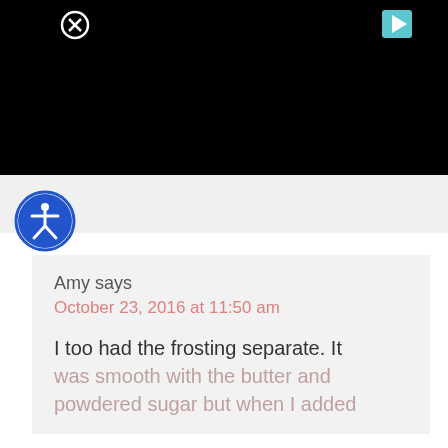[Figure (screenshot): Black video player area with a close (X) button in the top-left and a play button in the top-right]
[Figure (logo): Circular blue accessibility icon (person with arms and legs outstretched in a circle) on a blue border circle]
Amy says
October 23, 2016 at 11:50 am
I too had the frosting separate. It was smooth with the butter and powdered sugar but when I added